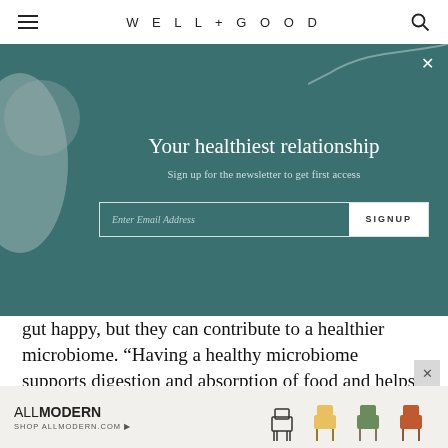WELL+GOOD
[Figure (screenshot): Newsletter signup popup with teal/dark green background. Title: 'Your healthiest relationship'. Subtitle: 'Sign up for the newsletter to get first access'. Email input field with SIGNUP button. Decorative grey circular shape on left side.]
gut happy, but they can contribute to a healthier microbiome. “Having a healthy microbiome supports digestion and absorption of food and helps maintain the intestinal barrier against pathogenic bacteria and infection,” explains Malena Perdomo, MS, RDN, CDCES, a Denver-based registered dietitian.
[Figure (photo): AllModern advertisement banner showing chairs in various colors. Text: ALL MODERN SHOP ALLMODERN.COM]